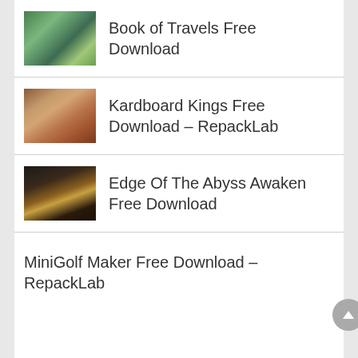Book of Travels Free Download
Kardboard Kings Free Download – RepackLab
Edge Of The Abyss Awaken Free Download
MiniGolf Maker Free Download – RepackLab